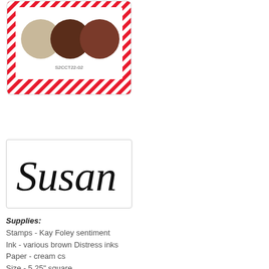[Figure (illustration): Color swatch card with candy cane striped red and white border containing three colored circles: tan/beige, dark brown, and medium brown. SKU label S2CCT22-02 below circles.]
[Figure (illustration): White card with the name 'Susan' written in large decorative cursive/script black lettering.]
Supplies: Stamps - Kay Foley sentiment Ink - various brown Distress inks Paper - cream cs Size - 5.25" square Accessories - ARTplorations Christmas Reindeer stencil, star stencil, SSS small star die, dimensional tape